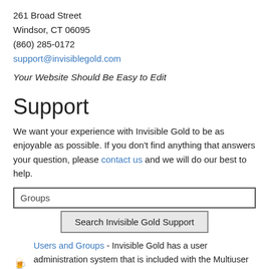261 Broad Street
Windsor, CT 06095
(860) 285-0172
support@invisiblegold.com
Your Website Should Be Easy to Edit
Support
We want your experience with Invisible Gold to be as enjoyable as possible. If you don't find anything that answers your question, please contact us and we will do our best to help.
Groups
Search Invisible Gold Support
Users and Groups - Invisible Gold has a user administration system that is included with the Multiuser and Advanced Commerce licenses. This enables a website to have separate user logins, groups of users (for security settings), Advanced